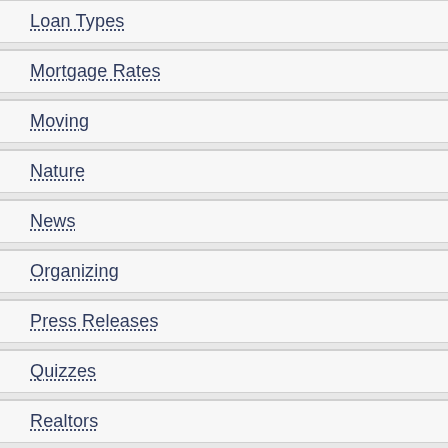Loan Types
Mortgage Rates
Moving
Nature
News
Organizing
Press Releases
Quizzes
Realtors
Refinance